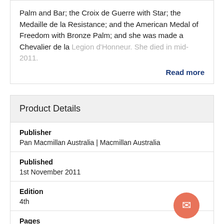Palm and Bar; the Croix de Guerre with Star; the Medaille de la Resistance; and the American Medal of Freedom with Bronze Palm; and she was made a Chevalier de la Legion d'Honneur. She died in mid-2011.
Read more
Product Details
Publisher
Pan Macmillan Australia | Macmillan Australia
Published
1st November 2011
Edition
4th
Pages